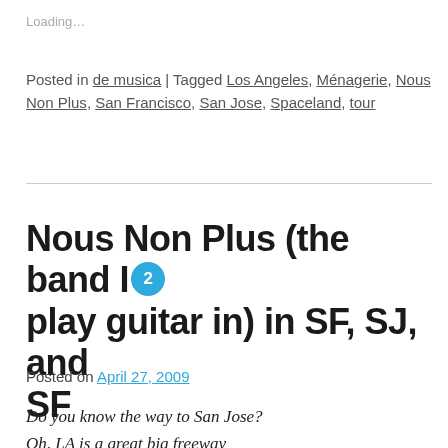Loading…
Posted in de musica | Tagged Los Angeles, Ménagerie, Nous Non Plus, San Francisco, San Jose, Spaceland, tour
Nous Non Plus (the band I play guitar in) in SF, SJ, and SF
Posted on April 27, 2009
Do you know the way to San Jose?
Oh, LA is a great big freeway
Put a hundred down and buy a car